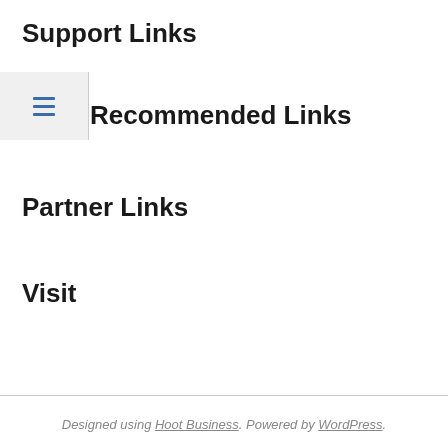Support Links
Recommended Links
Partner Links
Visit
Body Building
Designed using Hoot Business. Powered by WordPress.